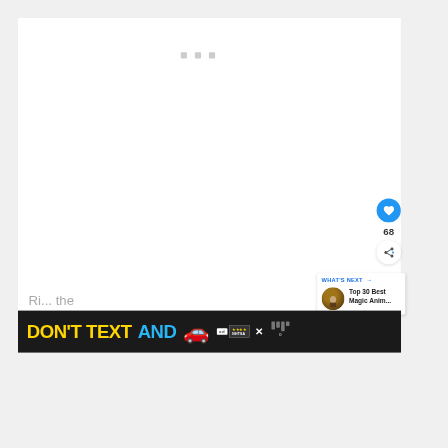[Figure (screenshot): A mostly blank white content area (loading or empty state) with three small gray dots/squares near the top center, a blue heart/like button with count 68, a share button on the right sidebar, a 'What's Next' recommendation card showing 'Top 30 Best Magic Anim...' with a thumbnail, and a NHTSA 'Don't Text and Drive' advertisement banner at the bottom with close button.]
68
WHAT'S NEXT →
Top 30 Best Magic Anim...
DON'T TEXT AND
Ri... the